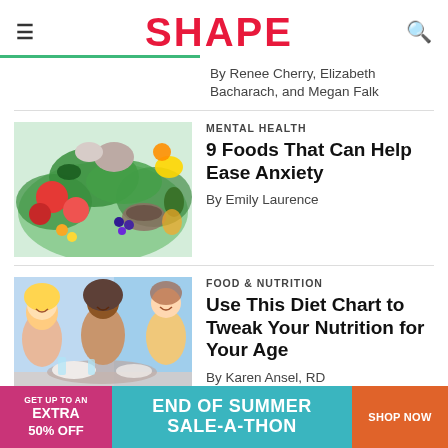SHAPE
By Renee Cherry, Elizabeth Bacharach, and Megan Falk
MENTAL HEALTH
9 Foods That Can Help Ease Anxiety
By Emily Laurence
[Figure (photo): Colorful assortment of fresh vegetables and foods including tomatoes, kale, berries, nuts, and other produce arranged on a white surface.]
FOOD & NUTRITION
Use This Diet Chart to Tweak Your Nutrition for Your Age
By Karen Ansel, RD
[Figure (photo): Three women smiling and dining together at a table with food and drinks.]
[Figure (infographic): Advertisement banner: GET UP TO AN EXTRA 50% OFF — END OF SUMMER SALE-A-THON — SHOP NOW]